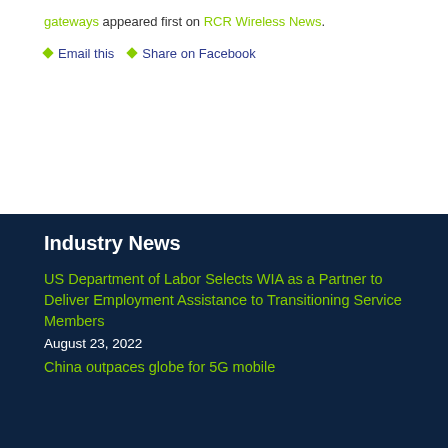gateways appeared first on RCR Wireless News.
Email this
Share on Facebook
Industry News
US Department of Labor Selects WIA as a Partner to Deliver Employment Assistance to Transitioning Service Members
August 23, 2022
China outpaces globe for 5G mobile